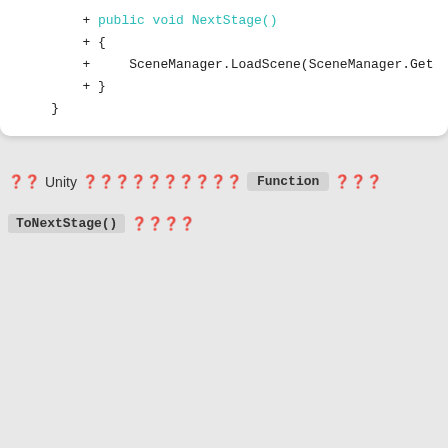[Figure (screenshot): Code editor showing C# code snippet with NextStage() method using SceneManager.LoadScene]
Unity [CJK chars] Function [CJK chars] ToNextStage() [CJK chars]
[Figure (screenshot): Unity Inspector panel showing Animation Event with Function: ToNextStage, Float: 0, Int: 0, String: (empty), Object: None (Object)]